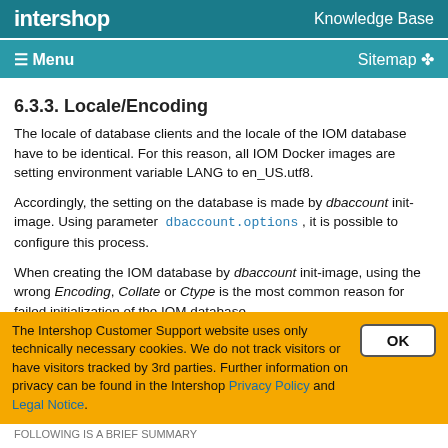intershop   Knowledge Base
≡ Menu   Sitemap
6.3.3. Locale/Encoding
The locale of database clients and the locale of the IOM database have to be identical. For this reason, all IOM Docker images are setting environment variable LANG to en_US.utf8.
Accordingly, the setting on the database is made by dbaccount init-image. Using parameter dbaccount.options , it is possible to configure this process.
When creating the IOM database by dbaccount init-image, using the wrong Encoding, Collate or Ctype is the most common reason for failed initialization of the IOM database.
The Intershop Customer Support website uses only technically necessary cookies. We do not track visitors or have visitors tracked by 3rd parties. Further information on privacy can be found in the Intershop Privacy Policy and Legal Notice.
FOLLOWING IS A BRIEF SUMMARY